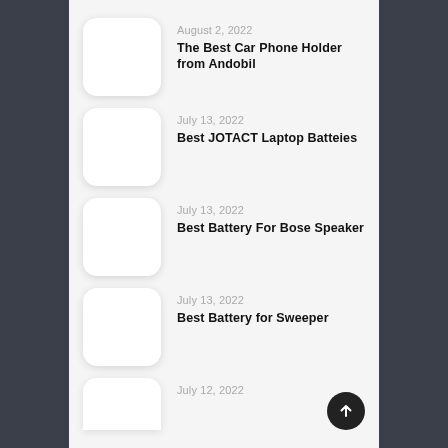August 2, 2022 — The Best Car Phone Holder from Andobil
July 13, 2022 — Best JOTACT Laptop Batteies
July 13, 2022 — Best Battery For Bose Speaker
July 13, 2022 — Best Battery for Sweeper
July 12, 2022 — (partial)